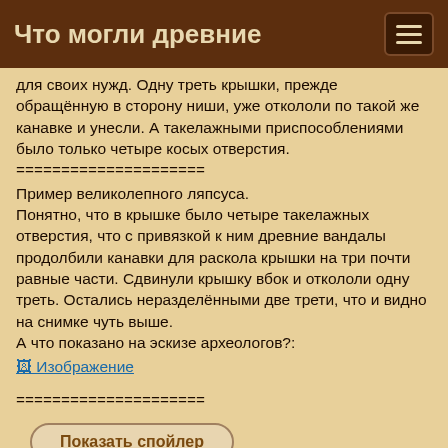Что могли древние
для своих нужд. Одну треть крышки, прежде обращённую в сторону ниши, уже откололи по такой же канавке и унесли. А такелажными приспособлениями было только четыре косых отверстия.
======================
Пример великолепного ляпсуса.
Понятно, что в крышке было четыре такелажных отверстия, что с привязкой к ним древние вандалы продолбили канавки для раскола крышки на три почти равные части. Сдвинули крышку вбок и откололи одну треть. Остались неразделёнными две трети, что и видно на снимке чуть выше.
А что показано на эскизе археологов?:
[Figure (other): Изображение (image link placeholder)]
======================
Показать спойлер
рехмира